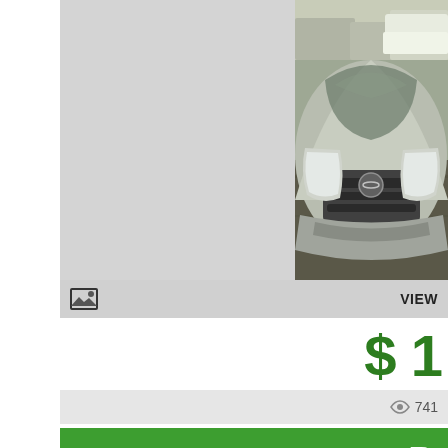[Figure (photo): Car listing page showing a partial gray placeholder on the left and a photo of a silver Nissan sedan shot from the front-right angle in a dealership lot on the right]
VIEW
$ 1
741
B